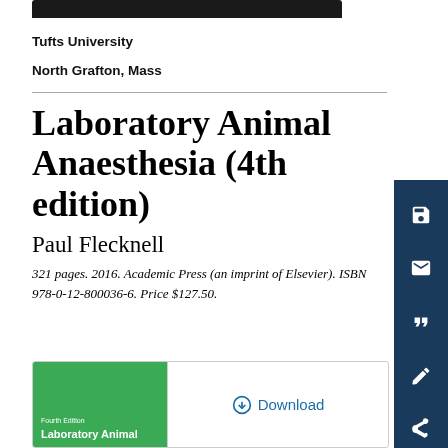Tufts University
North Grafton, Mass
Laboratory Animal Anaesthesia (4th edition)
Paul Flecknell
321 pages. 2016. Academic Press (an imprint of Elsevier). ISBN 978-0-12-800036-6. Price $127.50.
[Figure (other): Book cover thumbnail showing green cover with title 'Laboratory Animal' and a Download button beside it]